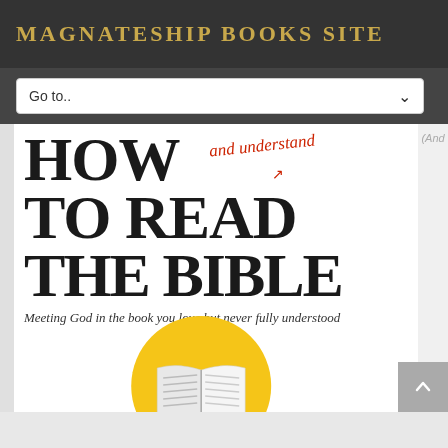MAGNATESHIP BOOKS SITE
Go to..
[Figure (screenshot): Book cover of 'How to Read (and understand) the Bible' with subtitle 'Meeting God in the book you love but never fully understood' and a circular icon showing an open book with a bookmark on an orange/yellow background]